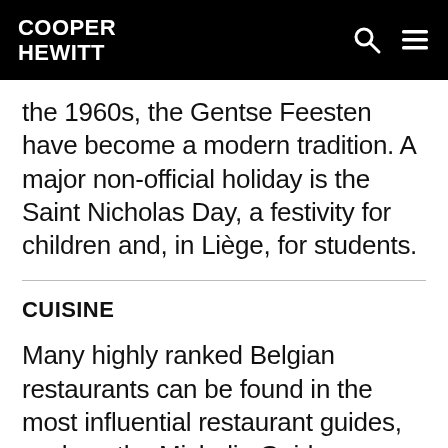COOPER HEWITT
the 1960s, the Gentse Feesten have become a modern tradition. A major non-official holiday is the Saint Nicholas Day, a festivity for children and, in Liège, for students.
CUISINE
Many highly ranked Belgian restaurants can be found in the most influential restaurant guides, such as the Michelin Guide. Belgium is famous for beer...